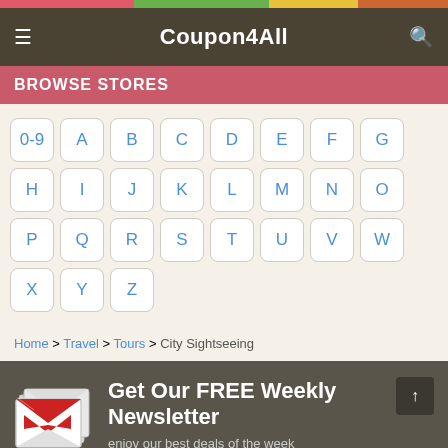Coupon4All
BROWSE STORES
[Figure (other): Alphabet navigation grid with buttons 0-9, A through Z for browsing stores]
Home > Travel > Tours > City Sightseeing
[Figure (illustration): Stack of mail/email envelopes with red Gmail-style M logo]
Get Our FREE Weekly Newsletter
enjoy our best deals of the week
Enter email address
Subscribe